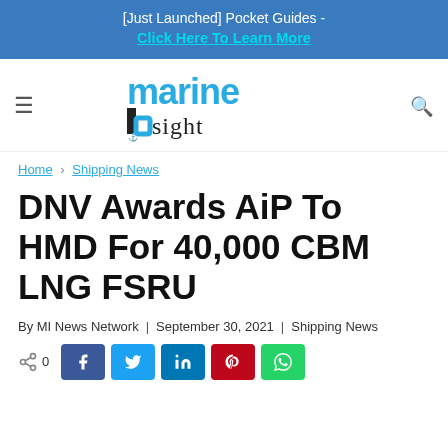[Just Launched] Pocket Guides - Click Here To Learn More
[Figure (logo): Marine Insight logo with stylized 'marine' in cyan and 'sight' in dark serif font, with IU monogram]
Home › Shipping News
DNV Awards AiP To HMD For 40,000 CBM LNG FSRU
By MI News Network | September 30, 2021 | Shipping News